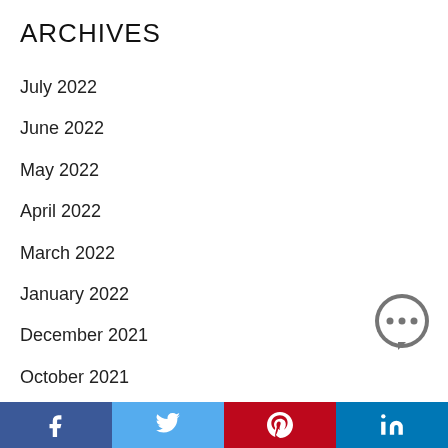ARCHIVES
July 2022
June 2022
May 2022
April 2022
March 2022
January 2022
December 2021
October 2021
September 2021
[Figure (illustration): Chat bubble icon with three dots]
Facebook | Twitter | Pinterest | LinkedIn